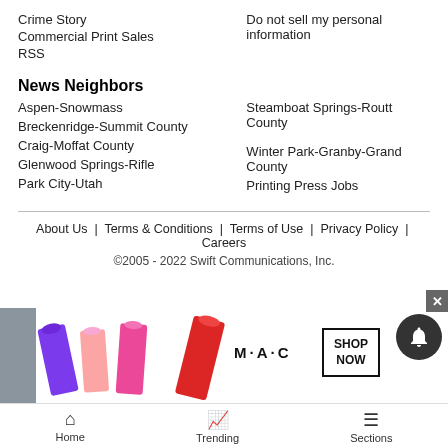Crime Story
Commercial Print Sales
RSS
Do not sell my personal information
News Neighbors
Aspen-Snowmass
Breckenridge-Summit County
Craig-Moffat County
Glenwood Springs-Rifle
Park City-Utah
Steamboat Springs-Routt County
Winter Park-Granby-Grand County
Printing Press Jobs
About Us  |  Terms & Conditions  |  Terms of Use  |  Privacy Policy  |  Careers
©2005 - 2022 Swift Communications, Inc.
[Figure (other): MAC cosmetics advertisement banner with lipsticks and Shop Now button]
Home   Trending   Sections